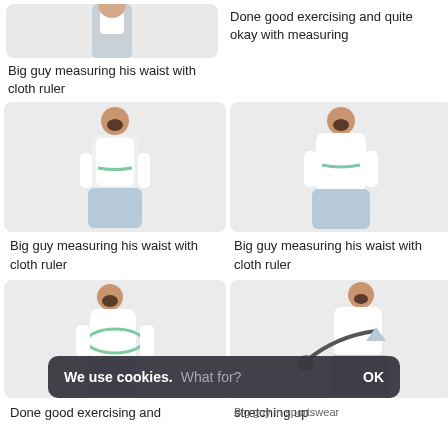[Figure (photo): Big guy measuring his waist with cloth ruler - top of image cropped]
Big guy measuring his waist with cloth ruler
Done good exercising and quite okay with measuring
[Figure (photo): Big guy measuring his waist with cloth ruler - full body shot]
[Figure (photo): Big guy measuring his waist with cloth ruler - right column full body]
Big guy measuring his waist with cloth ruler
Big guy measuring his waist with cloth ruler
[Figure (photo): Done good exercising - guy with hula hoop]
[Figure (photo): Big guy in sportswear stretching up]
Done good exercising and
stretching up